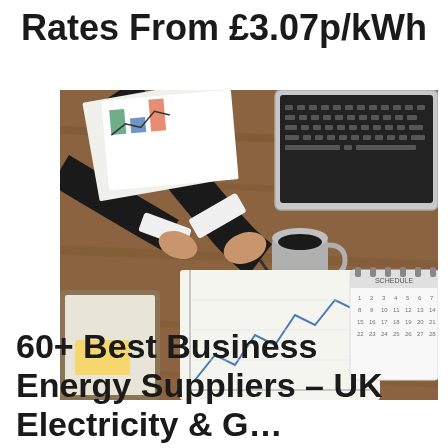Rates From £3.07p/kWh
[Figure (photo): Overhead view of a business person at a wooden desk with a laptop, coffee cup, financial charts, calendar, and a binder. Person is pointing at a line chart with a pen.]
60+ Best Business Energy Suppliers – UK Electricity & G…